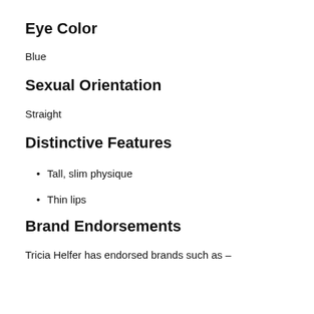Eye Color
Blue
Sexual Orientation
Straight
Distinctive Features
Tall, slim physique
Thin lips
Brand Endorsements
Tricia Helfer has endorsed brands such as –